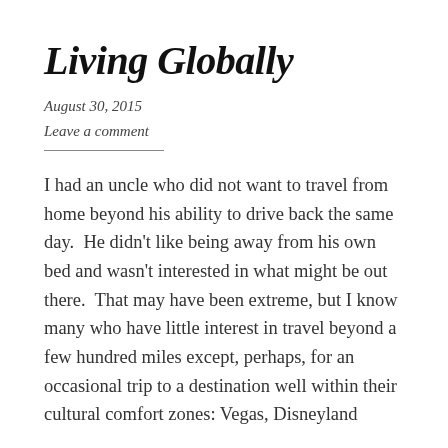Living Globally
August 30, 2015
Leave a comment
I had an uncle who did not want to travel from home beyond his ability to drive back the same day.  He didn't like being away from his own bed and wasn't interested in what might be out there.  That may have been extreme, but I know many who have little interest in travel beyond a few hundred miles except, perhaps, for an occasional trip to a destination well within their cultural comfort zones: Vegas, Disneyland